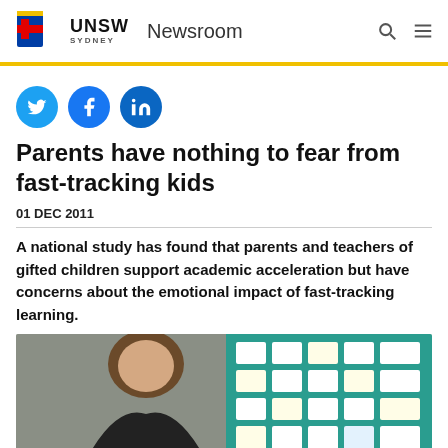UNSW Sydney Newsroom
[Figure (logo): UNSW Sydney logo with shield crest and wordmark]
[Figure (infographic): Three social media icon circles: Twitter (bird icon, cyan), Facebook (f icon, blue), LinkedIn (in icon, blue)]
Parents have nothing to fear from fast-tracking kids
01 DEC 2011
A national study has found that parents and teachers of gifted children support academic acceleration but have concerns about the emotional impact of fast-tracking learning.
[Figure (photo): A woman with long brown hair looking down, in a classroom setting with a colourful display board in the background]